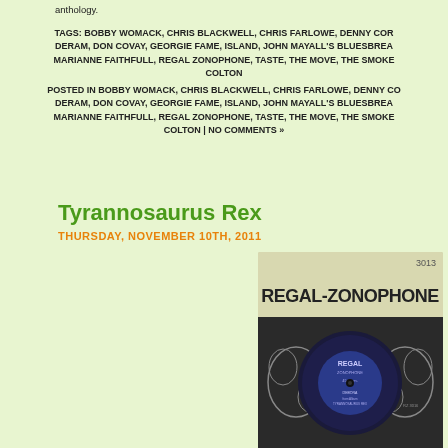anthology.
TAGS: BOBBY WOMACK, CHRIS BLACKWELL, CHRIS FARLOWE, DENNY COR... DERAM, DON COVAY, GEORGIE FAME, ISLAND, JOHN MAYALL'S BLUESBREA... MARIANNE FAITHFULL, REGAL ZONOPHONE, TASTE, THE MOVE, THE SMOKE... COLTON
POSTED IN BOBBY WOMACK, CHRIS BLACKWELL, CHRIS FARLOWE, DENNY CO... DERAM, DON COVAY, GEORGIE FAME, ISLAND, JOHN MAYALL'S BLUESBREA... MARIANNE FAITHFULL, REGAL ZONOPHONE, TASTE, THE MOVE, THE SMOKE... COLTON | NO COMMENTS »
Tyrannosaurus Rex
THURSDAY, NOVEMBER 10TH, 2011
[Figure (photo): A Regal-Zonophone vinyl record label, catalog number 3013, showing a dark blue circular record label with 'REGAL ZONOPHONE' printed in large bold text at the top of the sleeve, and decorative scroll/swirl motifs on either side of the record.]